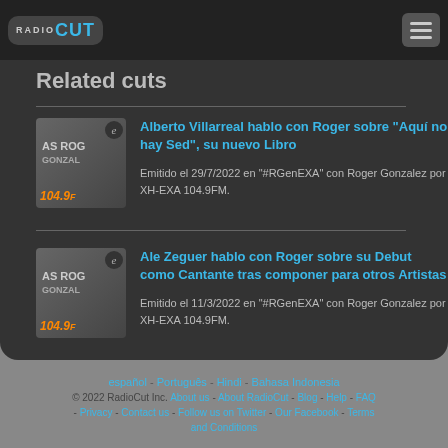RadioCut - Related cuts
Related cuts
Alberto Villarreal hablo con Roger sobre "Aquí no hay Sed", su nuevo Libro
Emitido el 29/7/2022 en "#RGenEXA" con Roger Gonzalez por XH-EXA 104.9FM.
Ale Zeguer hablo con Roger sobre su Debut como Cantante tras componer para otros Artistas
Emitido el 11/3/2022 en "#RGenEXA" con Roger Gonzalez por XH-EXA 104.9FM.
español - Português - Hindi - Bahasa Indonesia © 2022 RadioCut Inc. About us - About RadioCut - Blog - Help - FAQ - Privacy - Contact us - Follow us on Twitter - Our Facebook - Terms and Conditions